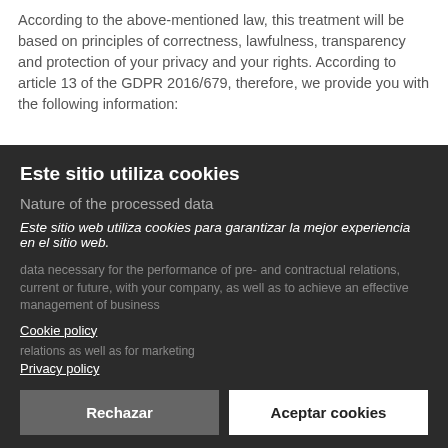According to the above-mentioned law, this treatment will be based on principles of correctness, lawfulness, transparency and protection of your privacy and your rights. According to article 13 of the GDPR 2016/679, therefore, we provide you with the following information:
Este sitio utiliza cookies
Nature of the processed data
Este sitio web utiliza cookies para garantizar la mejor experiencia en el sitio web.
Cookie policy
Privacy policy
data necessary for the performance of pre- and contractual relations, current or future, with your company, as well as to achieve an effective management of business relationships, as well as for marketing communications. The data are processed without an express consent art. 6 lett. b,e GDPR, only and exclusively for the following Service Purposes:
Rechazar
Aceptar cookies
Cookie settings:
Necessary | Preferences | Statistics